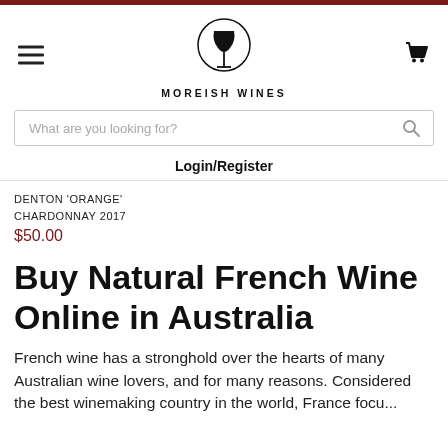[Figure (logo): Moreish Wines logo — wine glass inside a circle with text MOREISH WINES below]
What are you looking for?
Login/Register
DENTON 'ORANGE' CHARDONNAY 2017
$50.00
Buy Natural French Wine Online in Australia
French wine has a stronghold over the hearts of many Australian wine lovers, and for many reasons. Considered the best winemaking country in the world, France focu...